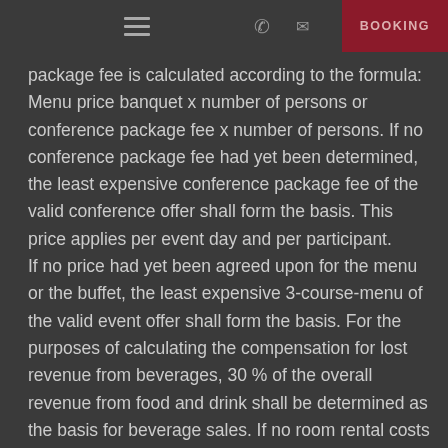BOOKING
package fee is calculated according to the formula: Menu price banquet x number of persons or conference package fee x number of persons. If no conference package fee had yet been determined, the least expensive conference package fee of the valid conference offer shall form the basis. This price applies per event day and per participant. If no price had yet been agreed upon for the menu or the buffet, the least expensive 3-course-menu of the valid event offer shall form the basis. For the purposes of calculating the compensation for lost revenue from beverages, 30 % of the overall revenue from food and drink shall be determined as the basis for beverage sales. If no room rental costs had yet been estimated, the valid room rental prices for this period shall apply. For private parties, the basis for calculation is an order value of at